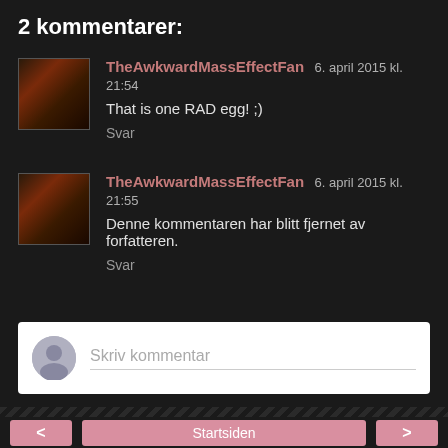2 kommentarer:
TheAwkwardMassEffectFan 6. april 2015 kl. 21:54
That is one RAD egg! ;)
Svar
TheAwkwardMassEffectFan 6. april 2015 kl. 21:55
Denne kommentaren har blitt fjernet av forfatteren.
Svar
Skriv kommentar
< Startsiden >